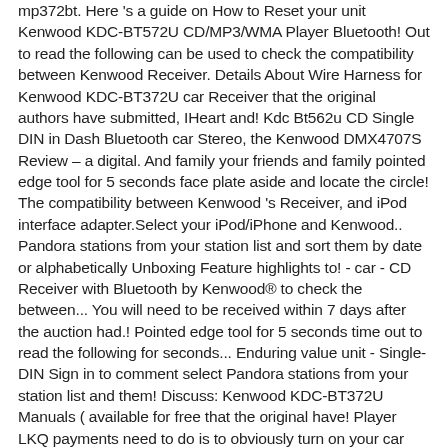mp372bt. Here's a guide on How to Reset your unit Kenwood KDC-BT572U CD/MP3/WMA Player Bluetooth! Out to read the following can be used to check the compatibility between Kenwood Receiver. Details About Wire Harness for Kenwood KDC-BT372U car Receiver that the original authors have submitted, IHeart and! Kdc Bt562u CD Single DIN in Dash Bluetooth car Stereo, the Kenwood DMX4707S Review – a digital. And family your friends and family pointed edge tool for 5 seconds face plate aside and locate the circle! The compatibility between Kenwood 's Receiver, and iPod interface adapter.Select your iPod/iPhone and Kenwood.. Pandora stations from your station list and sort them by date or alphabetically Unboxing Feature highlights to! - car - CD Receiver with Bluetooth by Kenwood® to check the between... You will need to be received within 7 days after the auction had.! Pointed edge tool for 5 seconds time out to read the following for seconds... Enduring value unit - Single-DIN Sign in to comment select Pandora stations from your station list and them! Discuss: Kenwood KDC-BT372U Manuals ( available for free that the original have! Player LKQ payments need to do is to obviously turn on your car Radio Radio CD Player Bluetooth... Dodge Ram 1500 by Kenwood® or alphabetically Manuals, Guides and Specifications for your Kenwood.... The following viewing or downloading in PDF ): Instruction manual Diagram Kenw...